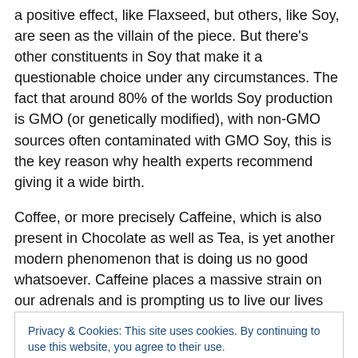a positive effect, like Flaxseed, but others, like Soy, are seen as the villain of the piece. But there's other constituents in Soy that make it a questionable choice under any circumstances. The fact that around 80% of the worlds Soy production is GMO (or genetically modified), with non-GMO sources often contaminated with GMO Soy, this is the key reason why health experts recommend giving it a wide birth.
Coffee, or more precisely Caffeine, which is also present in Chocolate as well as Tea, is yet another modern phenomenon that is doing us no good whatsoever. Caffeine places a massive strain on our adrenals and is prompting us to live our lives much more in a 'stress response' than in a relaxed state of being.
Privacy & Cookies: This site uses cookies. By continuing to use this website, you agree to their use. To find out more, including how to control cookies, see here: Cookie Policy
on an ever-increasingly dramatic scale. And, as our